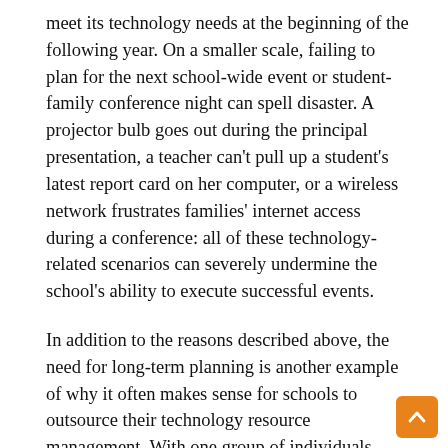meet its technology needs at the beginning of the following year. On a smaller scale, failing to plan for the next school-wide event or student-family conference night can spell disaster. A projector bulb goes out during the principal presentation, a teacher can't pull up a student's latest report card on her computer, or a wireless network frustrates families' internet access during a conference: all of these technology-related scenarios can severely undermine the school's ability to execute successful events.
In addition to the reasons described above, the need for long-term planning is another example of why it often makes sense for schools to outsource their technology resource management. With one group of individuals squarely focused on the school's technology needs, school leaders can sleep easier knowing their school can operate an effective